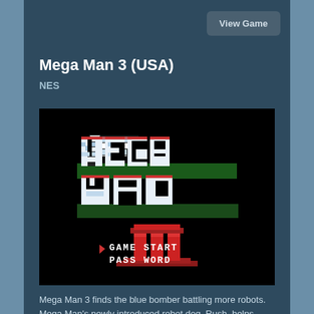View Game
Mega Man 3 (USA)
NES
[Figure (screenshot): Mega Man 3 NES title screen showing 'MEGA MAN' logo in white and blue with green shadow, 'III' in red pixel art, and menu options 'GAME START' and 'PASS WORD' with a red arrow cursor, all on a black background.]
Mega Man 3 finds the blue bomber battling more robots. Mega Man's newly introduced robot dog, Rush, helps Mega Man to traverse